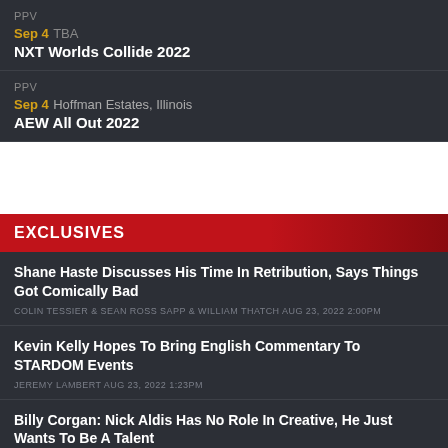Sep 4 TBA — NXT Worlds Collide 2022
Sep 4 Hoffman Estates, Illinois — AEW All Out 2022
EXCLUSIVES
Shane Haste Discusses His Time In Retribution, Says Things Got Comically Bad — COLIN TESSIER & SEAN ROSS SAPP & WILLIAM THATCH AUG 23, 2022 2:00PM
Kevin Kelly Hopes To Bring English Commentary To STARDOM Events — JEREMY LAMBERT AUG 23, 2022 1:23PM
Billy Corgan: Nick Aldis Has No Role In Creative, He Just Wants To Be A Talent — SKYLAR RUSSELL & WILLIAM THATCH & SEAN ROSS SAPP AUG 23, 2022 8:00AM